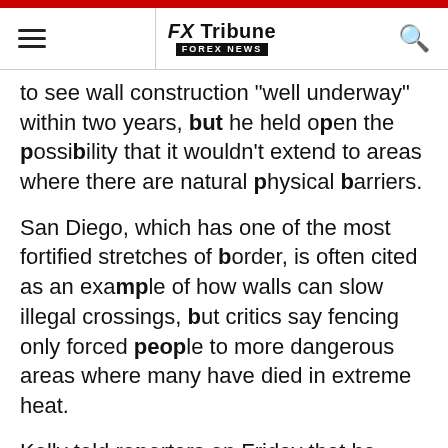FX Tribune FOREX NEWS
to see wall construction "well underway" within two years, but he held open the possibility that it wouldn't extend to areas where there are natural physical barriers.
San Diego, which has one of the most fortified stretches of border, is often cited as an example of how walls can slow illegal crossings, but critics say fencing only forced people to more dangerous areas where many have died in extreme heat.
Kelly told reporters on Friday that he worried about a federal appeals court's refusal on Thursday to reinstate Trump's ban on travelers from seven predominantly Muslim countries. He said vetting practices in those countries "are loose at best" and that countries include failing or faltering states